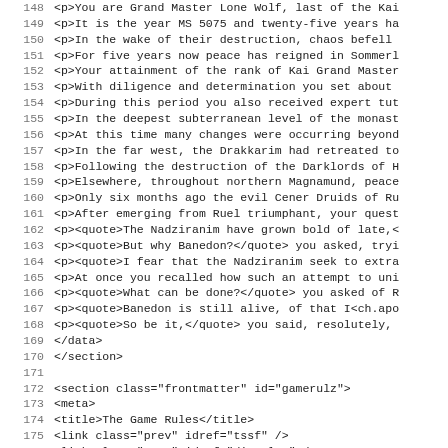148   <p>You are Grand Master Lone Wolf, last of the Kai
149   <p>It is the year MS 5075 and twenty-five years ha
150   <p>In the wake of their destruction, chaos befell
151   <p>For five years now peace has reigned in Sommerl
152   <p>Your attainment of the rank of Kai Grand Master
153   <p>With diligence and determination you set about
154   <p>During this period you also received expert tut
155   <p>In the deepest subterranean level of the monast
156   <p>At this time many changes were occurring beyond
157   <p>In the far west, the Drakkarim had retreated to
158   <p>Following the destruction of the Darklords of H
159   <p>Elsewhere, throughout northern Magnamund, peace
160   <p>Only six months ago the evil Cener Druids of Ru
161   <p>After emerging from Ruel triumphant, your quest
162   <p><quote>The Nadziranim have grown bold of late,<
163   <p><quote>But why Banedon?</quote> you asked, tryi
164   <p><quote>I fear that the Nadziranim seek to extra
165   <p>At once you recalled how such an attempt to uni
166   <p><quote>What can be done?</quote> you asked of R
167   <p><quote>Banedon is still alive, of that I<ch.apo
168   <p><quote>So be it,</quote> you said, resolutely,
169     </data>
170   </section>
171
172   <section class="frontmatter" id="gamerulz">
173    <meta>
174     <title>The Game Rules</title>
175     <link class="prev" idref="tssf" />
176     <link class="next" idref="discplnz" />
177    </meta>
178
179   <footnotes>